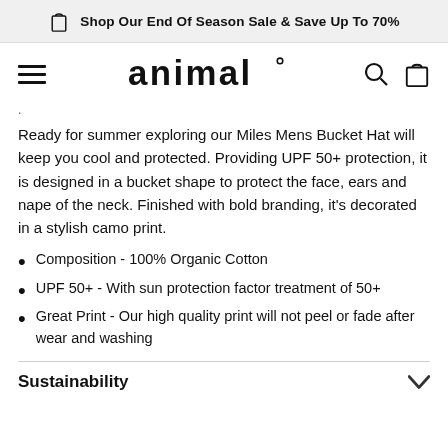Shop Our End Of Season Sale & Save Up To 70%
[Figure (logo): Animal brand logo in lowercase stylized text]
Ready for summer exploring our Miles Mens Bucket Hat will keep you cool and protected. Providing UPF 50+ protection, it is designed in a bucket shape to protect the face, ears and nape of the neck. Finished with bold branding, it's decorated in a stylish camo print.
Composition - 100% Organic Cotton
UPF 50+ - With sun protection factor treatment of 50+
Great Print - Our high quality print will not peel or fade after wear and washing
Sustainability